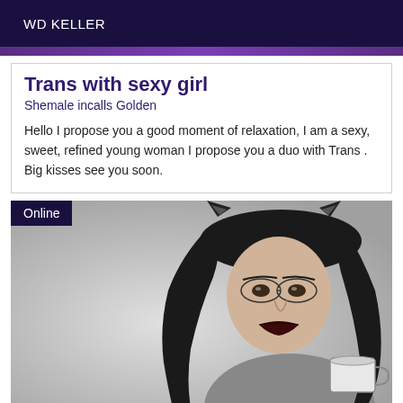WD KELLER
Trans with sexy girl
Shemale incalls Golden
Hello I propose you a good moment of relaxation, I am a sexy, sweet, refined young woman I propose you a duo with Trans . Big kisses see you soon.
[Figure (photo): Black and white photo of a woman wearing cat ears headband and dark lipstick, holding a cup, with long dark hair. An 'Online' badge is shown in the top-left corner of the image.]